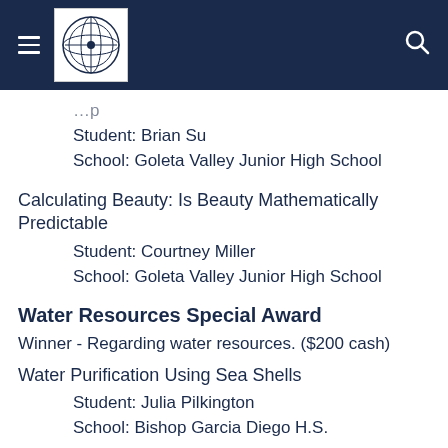[Navigation header with logo]
Student: Brian Su
School: Goleta Valley Junior High School
Calculating Beauty: Is Beauty Mathematically Predictable
Student: Courtney Miller
School: Goleta Valley Junior High School
Water Resources Special Award
Winner - Regarding water resources. ($200 cash)
Water Purification Using Sea Shells
Student: Julia Pilkington
School: Bishop Garcia Diego H.S.